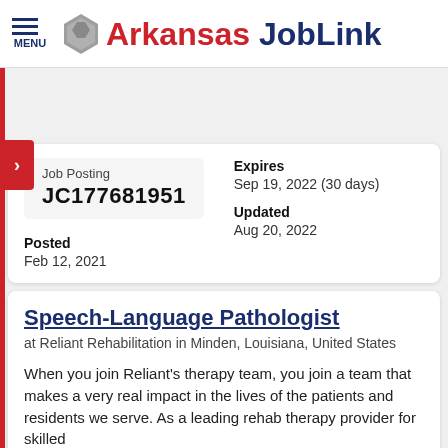MENU | Arkansas JobLink
| Job Posting | Expires | Posted | Updated |
| --- | --- | --- | --- |
| JC177681951 | Sep 19, 2022 (30 days) | Feb 12, 2021 | Aug 20, 2022 |
Speech-Language Pathologist
at Reliant Rehabilitation in Minden, Louisiana, United States
When you join Reliant's therapy team, you join a team that makes a very real impact in the lives of the patients and residents we serve. As a leading rehab therapy provider for skilled